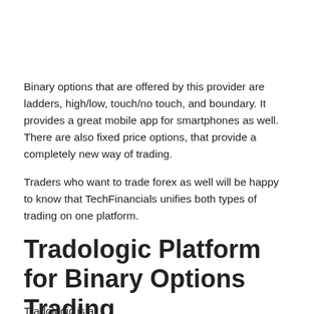Binary options that are offered by this provider are ladders, high/low, touch/no touch, and boundary. It provides a great mobile app for smartphones as well. There are also fixed price options, that provide a completely new way of trading.
Traders who want to trade forex as well will be happy to know that TechFinancials unifies both types of trading on one platform.
Tradologic Platform for Binary Options Trading
Tradologic is a